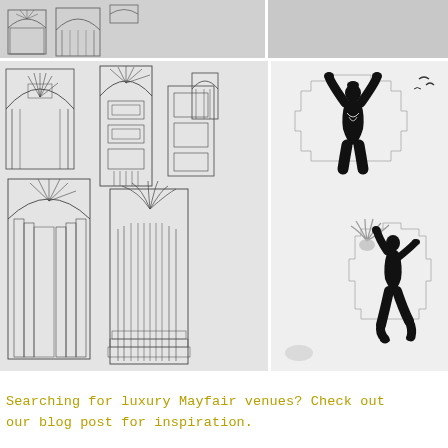[Figure (illustration): Top strip showing partial Art Deco architectural sketch on the left and a blank grey panel on the right]
[Figure (engineering-diagram): Art Deco architectural pencil sketches showing decorative column designs, fan motifs, palm frond capitals, and ornamental window/door details]
[Figure (illustration): Art Deco illustration showing two black silhouettes of female figures in dynamic poses against stepped geometric Art Deco background shapes; small dark bird shapes in upper right]
Searching for luxury Mayfair venues? Check out our blog post for inspiration.